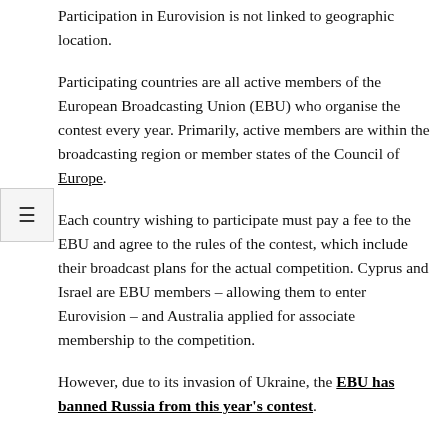Participation in Eurovision is not linked to geographic location.
Participating countries are all active members of the European Broadcasting Union (EBU) who organise the contest every year. Primarily, active members are within the broadcasting region or member states of the Council of Europe.
Each country wishing to participate must pay a fee to the EBU and agree to the rules of the contest, which include their broadcast plans for the actual competition. Cyprus and Israel are EBU members – allowing them to enter Eurovision – and Australia applied for associate membership to the competition.
However, due to its invasion of Ukraine, the EBU has banned Russia from this year's contest.